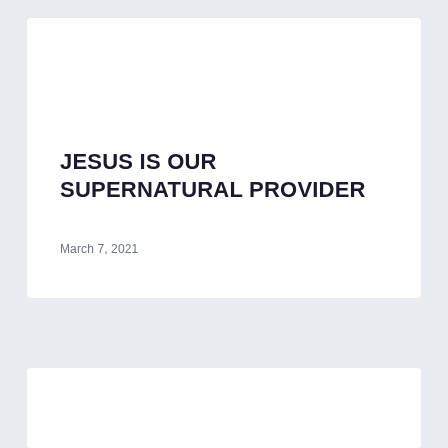JESUS IS OUR SUPERNATURAL PROVIDER
March 7, 2021